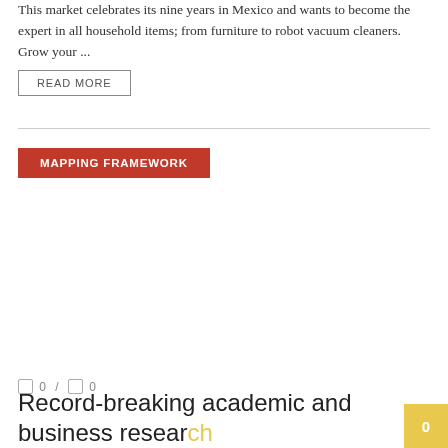This market celebrates its nine years in Mexico and wants to become the expert in all household items; from furniture to robot vacuum cleaners. Grow your ...
READ MORE
MAPPING FRAMEWORK
0 / 0
Record-breaking academic and business research